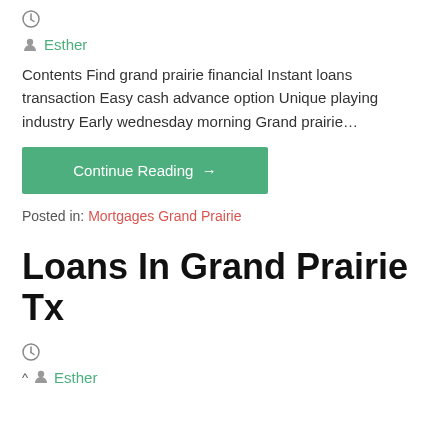[Figure (other): Clock icon]
Esther
Contents Find grand prairie financial Instant loans transaction Easy cash advance option Unique playing industry Early wednesday morning Grand prairie…
Continue Reading →
Posted in: Mortgages Grand Prairie
Loans In Grand Prairie Tx
[Figure (other): Clock icon]
^ Esther